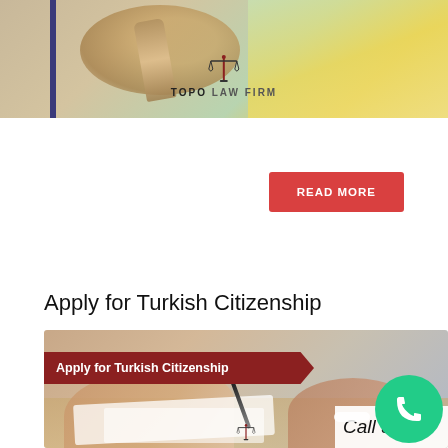[Figure (photo): Top banner image showing a judge's gavel and a map, with the Topo Law Firm logo centered below]
[Figure (logo): Topo Law Firm logo with scales of justice icon and text 'TOPO LAW FIRM']
[Figure (other): Red button labeled 'READ MORE']
Apply for Turkish Citizenship
[Figure (photo): Banner image showing people signing documents at a desk, with red overlay text 'Apply for Turkish Citizenship', a green phone circle button, a white pill shape, and 'Call us' text in bottom right. Topo Law Firm logo at bottom center.]